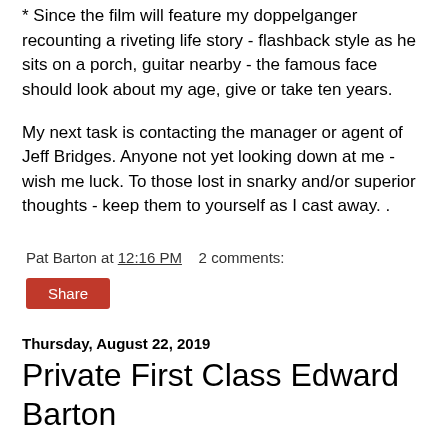* Since the film will feature my doppelganger recounting a riveting life story - flashback style as he sits on a porch, guitar nearby - the famous face should look about my age, give or take ten years.
My next task is contacting the manager or agent of Jeff Bridges. Anyone not yet looking down at me - wish me luck. To those lost in snarky and/or superior thoughts - keep them to yourself as I cast away. .
Pat Barton at 12:16 PM    2 comments:
Share
Thursday, August 22, 2019
Private First Class Edward Barton
My Dad fought in World War II but, like most vets of his